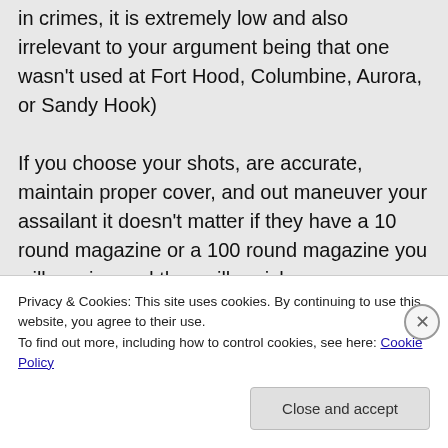in crimes, it is extremely low and also irrelevant to your argument being that one wasn't used at Fort Hood, Columbine, Aurora, or Sandy Hook)
If you choose your shots, are accurate, maintain proper cover, and out maneuver your assailant it doesn't matter if they have a 10 round magazine or a 100 round magazine you will survive and they will perish.

#2) This is a subject that irritates the hell
Privacy & Cookies: This site uses cookies. By continuing to use this website, you agree to their use.
To find out more, including how to control cookies, see here: Cookie Policy